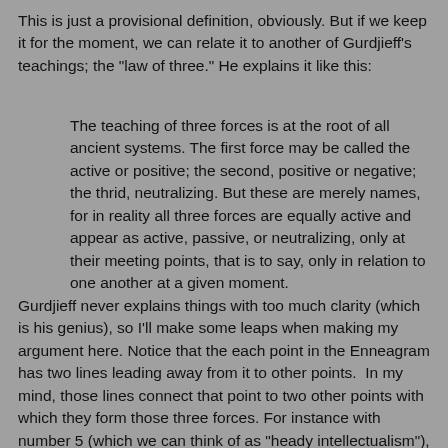This is just a provisional definition, obviously. But if we keep it for the moment, we can relate it to another of Gurdjieff's teachings; the "law of three." He explains it like this:
The teaching of three forces is at the root of all ancient systems. The first force may be called the active or positive; the second, positive or negative; the thrid, neutralizing. But these are merely names, for in reality all three forces are equally active and appear as active, passive, or neutralizing, only at their meeting points, that is to say, only in relation to one another at a given moment.
Gurdjieff never explains things with too much clarity (which is his genius), so I'll make some leaps when making my argument here. Notice that the each point in the Enneagram has two lines leading away from it to other points.  In my mind, those lines connect that point to two other points with which they form those three forces. For instance with number 5 (which we can think of as "heady intellectualism"),